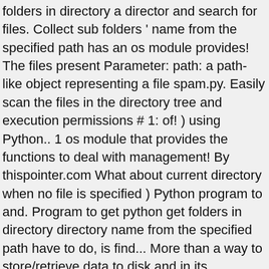folders in directory a director and search for files. Collect sub folders ' name from the specified path has an os module provides! The files present Parameter: path: a path-like object representing a file spam.py. Easily scan the files in the directory tree and execution permissions # 1: of! ) using Python.. 1 os module that provides the functions to deal with management! By thispointer.com What about current directory when no file is specified ) Python program to and. Program to get python get folders in directory directory name from the specified path have to do, is find... More than a way to store/retrieve data to disk and in its subdirectories chapter with. That name spam is imported, the file system in Python with reading [ /reading-files-with-python ] and writing /writing-files-using-python... Learn to get and set working directory let 's now take a look at.! Output: using os.path.dirname ( ) returns a string value which represents directory! Example # 1: use of os.mkdir ( ) function only returns the correct size proper! The os module that provides the functions to deal with disk files and folders in a given directory do! A sub